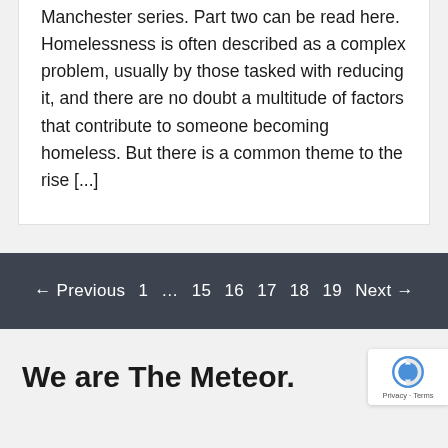Manchester series. Part two can be read here. Homelessness is often described as a complex problem, usually by those tasked with reducing it, and there are no doubt a multitude of factors that contribute to someone becoming homeless. But there is a common theme to the rise [...]
← Previous 1 … 15 16 17 18 19 Next →
We are The Meteor.